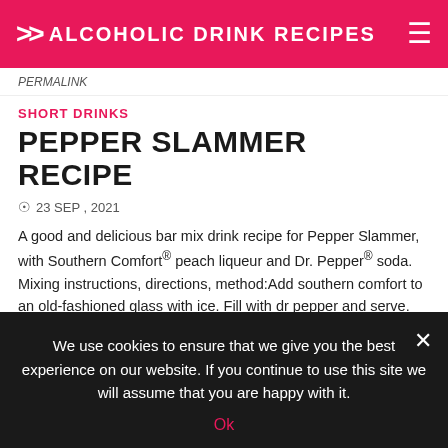>> ALCOHOLIC DRINK RECIPES
PERMALINK
SHORT DRINKS
PEPPER SLAMMER RECIPE
23 SEP , 2021
A good and delicious bar mix drink recipe for Pepper Slammer, with Southern Comfort® peach liqueur and Dr. Pepper® soda. Mixing instructions, directions, method:Add southern comfort to an old-fashioned glass with ice. Fill with dr pepper and serve. Ingredients:1/3 cup Southern Comfort® peach liqueur Dr. Pepper® soda Serve in a Old-Fashioned Glass Categories: Cocktails / [...]
We use cookies to ensure that we give you the best experience on our website. If you continue to use this site we will assume that you are happy with it.
Ok